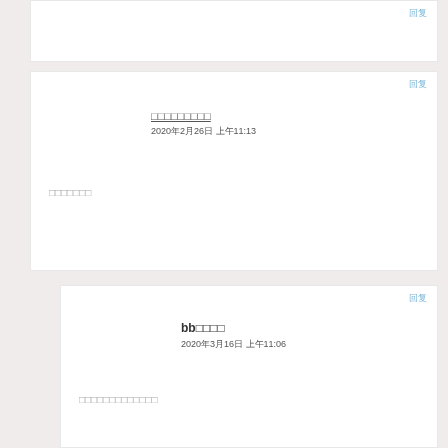回复
□□□□□□□□□
2020年2月26日 上午11:13
□□□□□□□
回复
bb□□□□
2020年3月16日 上午11:06
□□□□□□□□□□□□□
回复